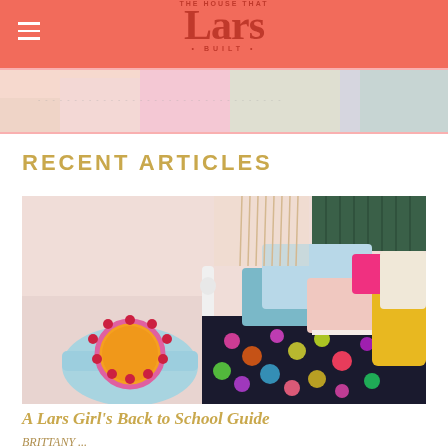THE HOUSE THAT Lars BUILT
[Figure (photo): Hero banner strip showing colorful home decor images including floral wallpaper and room details]
RECENT ARTICLES
[Figure (photo): Colorful bedroom scene with floral duvet, multiple decorative pillows in teal, pink, yellow, and light blue on a white iron bed frame, with a blue Eames-style chair with a round orange and pink pom-pom cushion in the foreground, and macrame wall hanging]
A Lars Girl's Back to School Guide